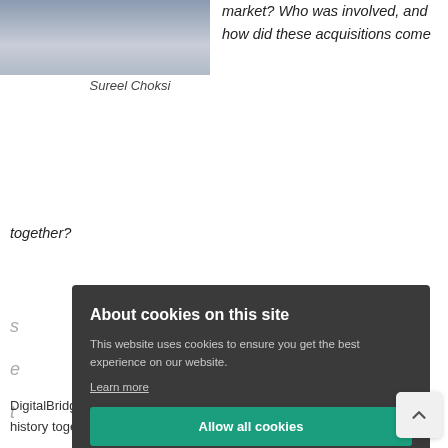[Figure (photo): Partial photo of Sureel Choksi in a dark suit]
Sureel Choksi
market? Who was involved, and how did these acquisitions come together?
DigitalBridge's portfolio of operating companies, so we ha history together already.
[Figure (screenshot): Cookie consent modal overlay with dark background. Title: About cookies on this site. Body: This website uses cookies to ensure you get the best experience on our website. Learn more. Buttons: Allow all cookies, Cookie settings.]